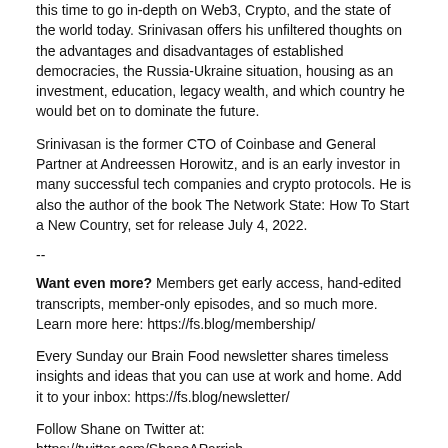this time to go in-depth on Web3, Crypto, and the state of the world today. Srinivasan offers his unfiltered thoughts on the advantages and disadvantages of established democracies, the Russia-Ukraine situation, housing as an investment, education, legacy wealth, and which country he would bet on to dominate the future.
Srinivasan is the former CTO of Coinbase and General Partner at Andreessen Horowitz, and is an early investor in many successful tech companies and crypto protocols. He is also the author of the book The Network State: How To Start a New Country, set for release July 4, 2022.
--
Want even more? Members get early access, hand-edited transcripts, member-only episodes, and so much more. Learn more here: https://fs.blog/membership/
Every Sunday our Brain Food newsletter shares timeless insights and ideas that you can use at work and home. Add it to your inbox: https://fs.blog/newsletter/
Follow Shane on Twitter at: https://twitter.com/ShaneAParrish
[Figure (screenshot): Audio player showing episode #134 Balaji Srinivasan: The Network State with a play button, progress bar, timestamp 00:00:00, and libsyn logo]
Download this Episode